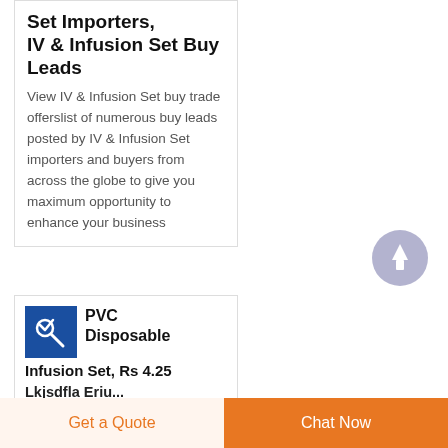Set Importers, IV & Infusion Set Buy Leads
View IV & Infusion Set buy trade offerslist of numerous buy leads posted by IV & Infusion Set importers and buyers from across the globe to give you maximum opportunity to enhance your business
[Figure (other): Circular scroll-to-top button with upward arrow icon, grey background]
[Figure (other): PVC Disposable Infusion Set product icon on blue background]
PVC Disposable Infusion Set, Rs 4.25
Get a Quote
Chat Now